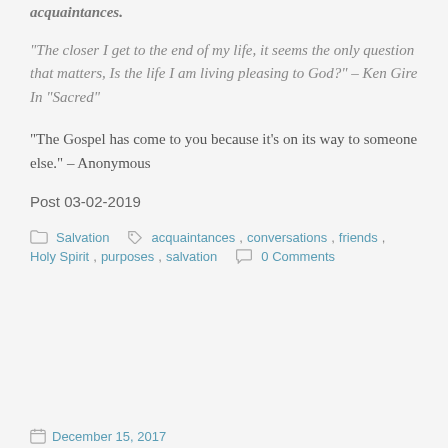acquaintances.
“The closer I get to the end of my life, it seems the only question that matters, Is the life I am living pleasing to God?” – Ken Gire In “Sacred”
“The Gospel has come to you because it’s on its way to someone else.” – Anonymous
Post 03-02-2019
Salvation   acquaintances, conversations, friends, Holy Spirit, purposes, salvation   0 Comments
December 15, 2017